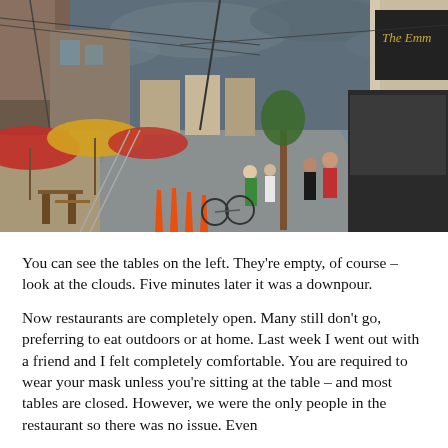[Figure (photo): Street scene of a commercial urban street with outdoor restaurant tables and red umbrellas on the left, orange traffic cones, bicycles, pedestrians, and storefronts including 'The Emm...' sign on the right, under a cloudy grey sky.]
You can see the tables on the left. They're empty, of course – look at the clouds. Five minutes later it was a downpour.
Now restaurants are completely open. Many still don't go, preferring to eat outdoors or at home. Last week I went out with a friend and I felt completely comfortable. You are required to wear your mask unless you're sitting at the table – and most tables are closed. However, we were the only people in the restaurant so there was no issue. Even